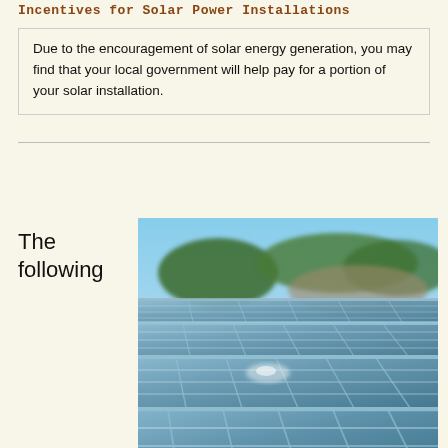Incentives for Solar Power Installations
Due to the encouragement of solar energy generation, you may find that your local government will help pay for a portion of your solar installation.
The following
[Figure (photo): Close-up photograph of solar panels under a blue sky with trees/hills visible in the background]